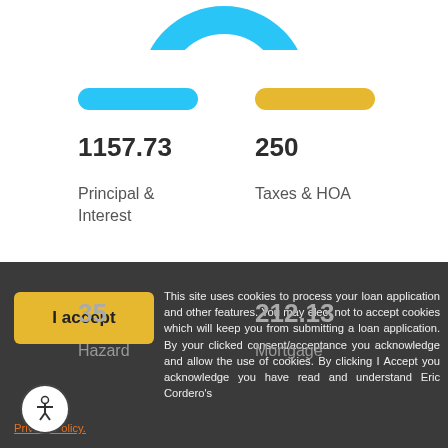[Figure (donut-chart): Partial donut chart visible at top of page showing loan payment breakdown in cyan/blue color]
1157.73
Principal & Interest
250
Taxes & HOA
35
Hazard
212.13
Mortgage
This site uses cookies to process your loan application and other features. You may elect not to accept cookies which will keep you from submitting a loan application. By your clicked consent/acceptance you acknowledge and allow the use of cookies. By clicking I Accept you acknowledge you have read and understand Eric Cordero's Privacy Policy.